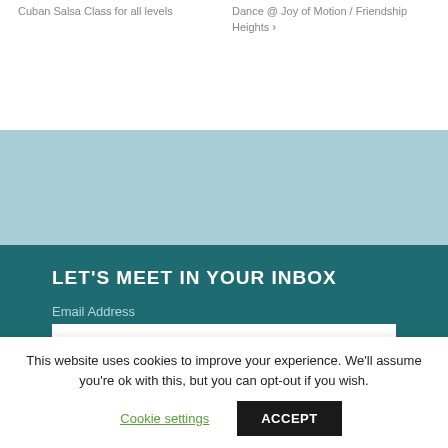Cuban Salsa Class for all levels
Dance @ Joy of Motion / Friendship Heights ›
LET'S MEET IN YOUR INBOX
Email Address
First Name
This website uses cookies to improve your experience. We'll assume you're ok with this, but you can opt-out if you wish.
Cookie settings
ACCEPT